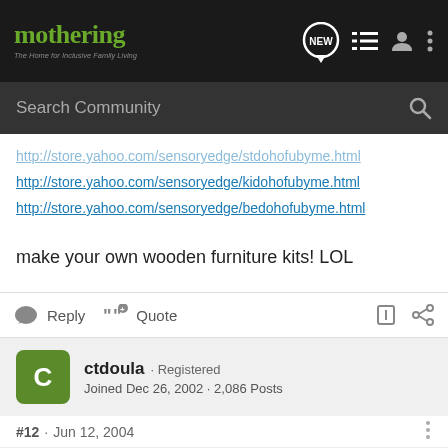mothering · The Home for Inclusive Family Living
http://store.yahoo.com/sensoryedge/stdohofubyme.html
http://store.yahoo.com/sensoryedge/kidohofubyme.html
http://store.yahoo.com/sensoryedge/bedohofubyme.html
make your own wooden furniture kits! LOL
Reply  Quote
ctdoula · Registered
Joined Dec 26, 2002 · 2,086 Posts
#12 · Jun 12, 2004
We got a GREAT deal on ours. A local toy store was going out of business & I asked about buying the floor model. I got it for $50!!! It was a Play Town house & was fully furnished/a...